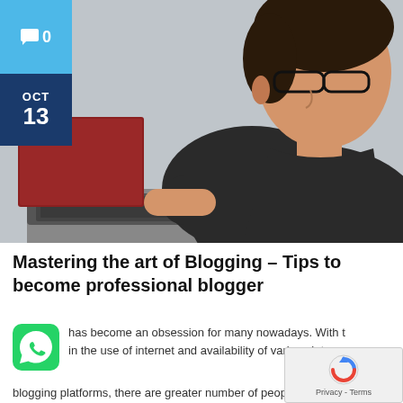[Figure (photo): Young man with glasses wearing a dark hoodie, looking down and typing on a laptop. The image has a light gray background and shows him in profile.]
💬 0
OCT 13
Mastering the art of Blogging – Tips to become professional blogger
has become an obsession for many nowadays. With the use of internet and availability of various interactive blogging platforms, there are greater number of people with writing skills